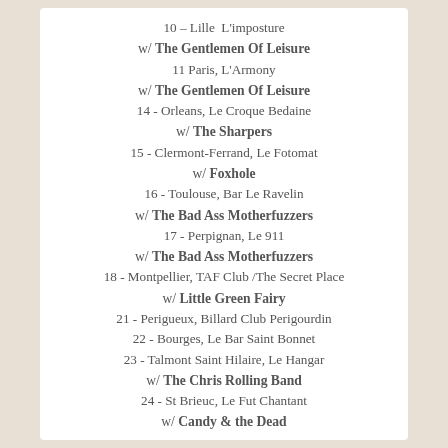10 – Lille  L'imposture
w/ The Gentlemen Of Leisure
11 Paris, L'Armony
w/ The Gentlemen Of Leisure
14 - Orleans, Le Croque Bedaine
w/ The Sharpers
15 - Clermont-Ferrand, Le Fotomat
w/ Foxhole
16 - Toulouse, Bar Le Ravelin
w/ The Bad Ass Motherfuzzers
17 - Perpignan, Le 911
w/ The Bad Ass Motherfuzzers
18 - Montpellier, TAF Club /The Secret Place
w/ Little Green Fairy
21 - Perigueux, Billard Club Perigourdin
22 - Bourges, Le Bar Saint Bonnet
23 - Talmont Saint Hilaire, Le Hangar
w/ The Chris Rolling Band
24 - St Brieuc, Le Fut Chantant
w/ Candy & the Dead